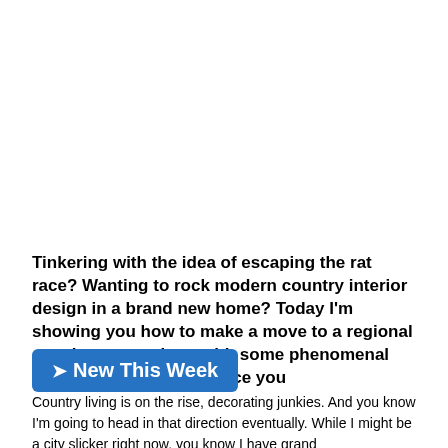[Figure (photo): Large image area at top of page, appears blank/white in this view]
Tinkering with the idea of escaping the rat race? Wanting to rock modern country interior design in a brand new home? Today I'm showing you how to make a move to a regional area happen – along with some phenomenal design you can adopt once you
New This Week
Country living is on the rise, decorating junkies. And you know I'm going to head in that direction eventually. While I might be a city slicker right now, you know I have grand